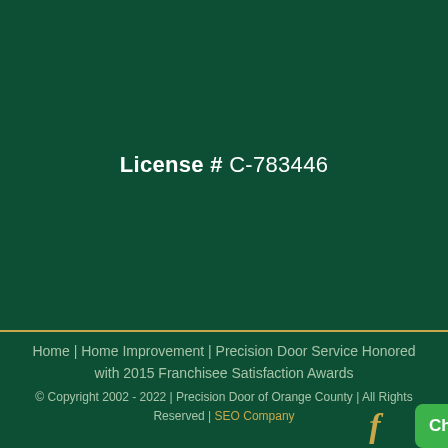License # C-783446
Home | Home Improvement | Precision Door Service Honored with 2015 Franchisee Satisfaction Awards
© Copyright 2002 - 2022 | Precision Door of Orange County | All Rights Reserved | SEO Company
[Figure (illustration): Facebook icon (f) in gold/tan color and a green Chat now button with speech bubble icon]